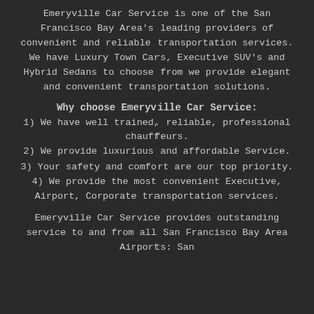Emeryville Car Service is one of the San Francisco Bay Area's leading providers of convenient and reliable transportation services. We have Luxury Town Cars, Executive SUV's and Hybrid Sedans to choose from we provide elegant and convenient transportation solutions.
Why choose Emeryville Car Service:
1) We have well trained, reliable, professional chauffeurs.
2) We provide luxurious and affordable Service.
3) Your safety and comfort are our top priority.
4) We provide the most convenient Executive, Airport, Corporate transportation services.
Emeryville Car Service provides outstanding service to and from all San Francisco Bay Area Airports: San